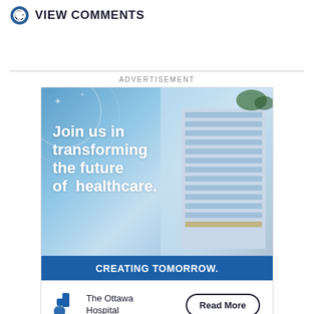VIEW COMMENTS
ADVERTISEMENT
[Figure (illustration): Advertisement for The Ottawa Hospital featuring a modern hospital building rendering with blue sky background, bold white headline text reading 'Join us in transforming the future of healthcare.', a dark blue bar reading 'CREATING TOMORROW.', and a footer with The Ottawa Hospital logo and a 'Read More' button.]